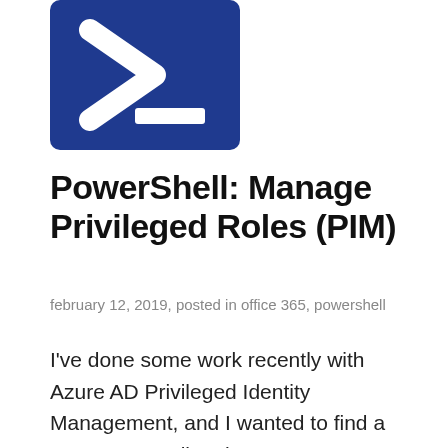[Figure (logo): PowerShell logo: dark blue square with a white '>' chevron and white underscore dash, representing the PowerShell command-line interface icon]
PowerShell: Manage Privileged Roles (PIM)
february 12, 2019, posted in office 365, powershell
I've done some work recently with Azure AD Privileged Identity Management, and I wanted to find a way to streamline the request process for an administrator who needs to run some PowerShell scripts or commands so that the whole request/approval process can be simplified and streamlined.   Enabling Privileged Identity